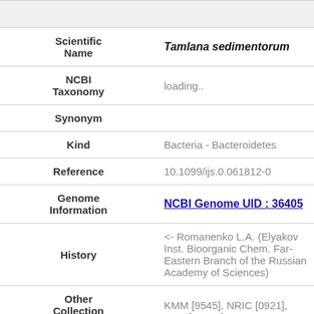| Field | Value |
| --- | --- |
| Scientific Name | Tamlana sedimentorum |
| NCBI Taxonomy | loading.. |
| Synonym |  |
| Kind | Bacteria - Bacteroidetes |
| Reference | 10.1099/ijs.0.061812-0 |
| Genome Information | NCBI Genome UID : 36405 |
| History | <- Romanenko L.A. (Elyakov Inst. Bioorganic Chem. Far-Eastern Branch of the Russian Academy of Sciences) |
| Other Collection No. | KMM [9545], NRIC [0921], JCM [19808] |